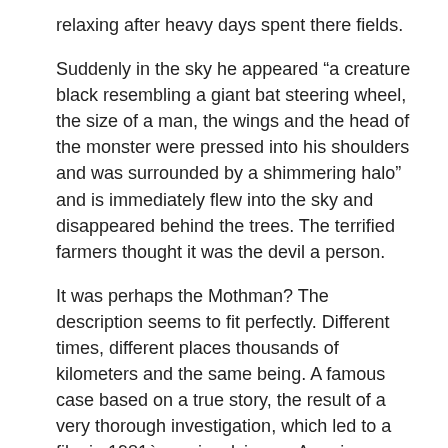relaxing after heavy days spent there fields.
Suddenly in the sky he appeared “a creature black resembling a giant bat steering wheel, the size of a man, the wings and the head of the monster were pressed into his shoulders and was surrounded by a shimmering halo” and is immediately flew into the sky and disappeared behind the trees. The terrified farmers thought it was the devil a person.
It was perhaps the Mothman? The description seems to fit perfectly. Different times, different places thousands of kilometers and the same being. A famous case based on a true story, the result of a very thorough investigation, which led to a film in 1981è one involving an American woman named Doris Bither.
He declared that in the 70 was several times attacked and raped by something I could not see, she lived a very difficult life. She grew up in a violent family of